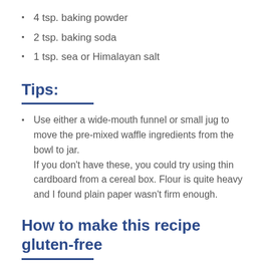4 tsp. baking powder
2 tsp. baking soda
1 tsp. sea or Himalayan salt
Tips:
Use either a wide-mouth funnel or small jug to move the pre-mixed waffle ingredients from the bowl to jar. If you don't have these, you could try using thin cardboard from a cereal box. Flour is quite heavy and I found plain paper wasn't firm enough.
How to make this recipe gluten-free
I like to use equal amounts of almond flour, rice flour, and the next to use about the recipe of is an content.